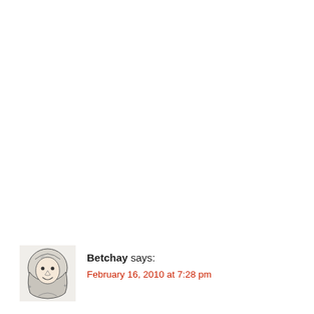[Figure (illustration): Small square avatar image showing a cartoon/caricature illustration of a person wearing a hijab, drawn in pencil sketch style with a smiling face]
Betchay says:
February 16, 2010 at 7:28 pm